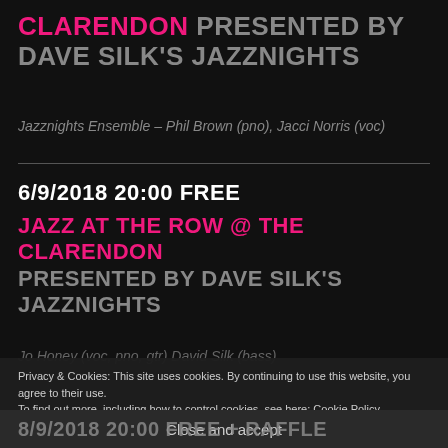CLARENDON PRESENTED BY DAVE SILK'S JAZZNIGHTS
Jazznights Ensemble – Phil Brown (pno), Jacci Norris (voc)
6/9/2018 20:00 FREE
JAZZ AT THE ROW @ THE CLARENDON PRESENTED BY DAVE SILK'S JAZZNIGHTS
Jo Honey (voc, pno, gtr) David Silk (bass)
Privacy & Cookies: This site uses cookies. By continuing to use this website, you agree to their use.
To find out more, including how to control cookies, see here: Cookie Policy
Close and accept
8/9/2018 20:00 FREE + RAFFLE